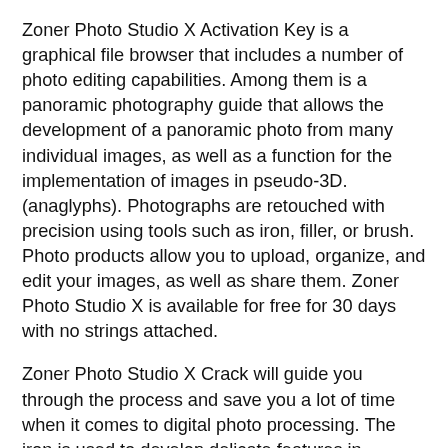Zoner Photo Studio X Activation Key is a graphical file browser that includes a number of photo editing capabilities. Among them is a panoramic photography guide that allows the development of a panoramic photo from many individual images, as well as a function for the implementation of images in pseudo-3D. (anaglyphs). Photographs are retouched with precision using tools such as iron, filler, or brush. Photo products allow you to upload, organize, and edit your images, as well as share them. Zoner Photo Studio X is available for free for 30 days with no strings attached.
Zoner Photo Studio X Crack will guide you through the process and save you a lot of time when it comes to digital photo processing. The iron is used to develop delicate features in photographs, such as portraits. The filler is used to fill the surface with the same color as the brush, whereas the brush is used to color in specific areas. Zoner Picture Studio X Pro Crack offers a complete photo workflow, from image import to final publication. You may simply turn photographs into unrecognizable visuals with the many built-in filters and ready-made special effects. Everything in one spot,